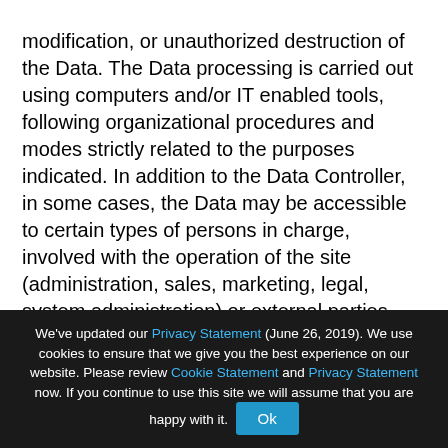modification, or unauthorized destruction of the Data. The Data processing is carried out using computers and/or IT enabled tools, following organizational procedures and modes strictly related to the purposes indicated. In addition to the Data Controller, in some cases, the Data may be accessible to certain types of persons in charge, involved with the operation of the site (administration, sales, marketing, legal, system administration) or external parties (such as third party technical service providers, mail carriers, hosting providers, IT companies, communications agencies) appointed, if necessary, as Data Processors by the Owner. The updated list of these parties may be requested from the Data Controller at any
We've updated our Privacy Statement (June 26, 2019). We use cookies to ensure that we give you the best experience on our website. Please review Cookie Statement and Privacy Statement now. If you continue to use this site we will assume that you are happy with it. Ok
Read more